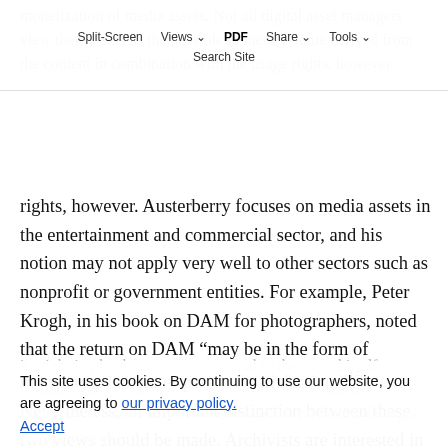Split-Screen  Views  PDF  Share  Tools
Search Site
monetization of media assets. Not all digital asset managers view their assets as the possible monetary value derived from the content in combination with the usage rights, however. Austerberry focuses on media assets in the entertainment and commercial sector, and his notion may not apply very well to other sectors such as nonprofit or government entities. For example, Peter Krogh, in his book on DAM for photographers, noted that the return on DAM “may be in the form of monetary payment or personal satisfaction.”¹⁵ Nevertheless, an important distinction between these two views should be made. Archivists are interested in the record not only for its content but for what it might imply about aspects external to the record itself, including historical and social implications. Digital asset managers are more focused on the content, including the legal rights to reuse.
This site uses cookies. By continuing to use our website, you are agreeing to our privacy policy.
Accept